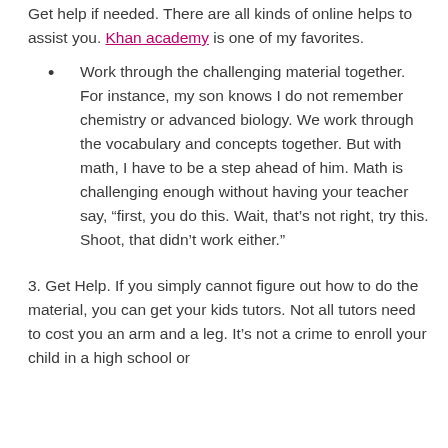Get help if needed. There are all kinds of online helps to assist you. Khan academy is one of my favorites.
Work through the challenging material together. For instance, my son knows I do not remember chemistry or advanced biology. We work through the vocabulary and concepts together. But with math, I have to be a step ahead of him. Math is challenging enough without having your teacher say, “first, you do this. Wait, that’s not right, try this. Shoot, that didn’t work either.”
3. Get Help. If you simply cannot figure out how to do the material, you can get your kids tutors. Not all tutors need to cost you an arm and a leg. It’s not a crime to enroll your child in a high school or